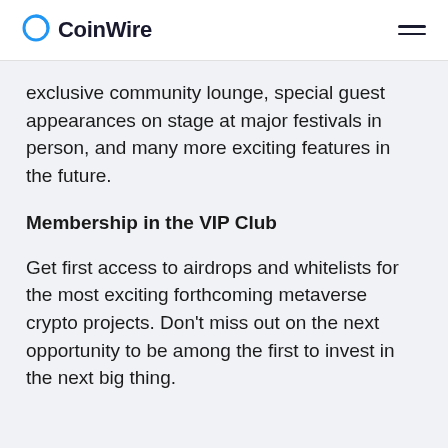CoinWire
exclusive community lounge, special guest appearances on stage at major festivals in person, and many more exciting features in the future.
Membership in the VIP Club
Get first access to airdrops and whitelists for the most exciting forthcoming metaverse crypto projects. Don't miss out on the next opportunity to be among the first to invest in the next big thing.